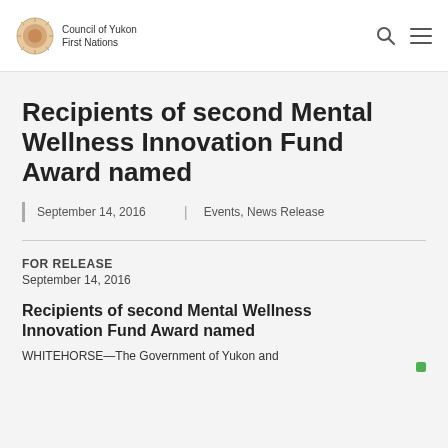Council of Yukon First Nations
Recipients of second Mental Wellness Innovation Fund Award named
September 14, 2016 | Events, News Release
FOR RELEASE
September 14, 2016
Recipients of second Mental Wellness Innovation Fund Award named
WHITEHORSE—The Government of Yukon and